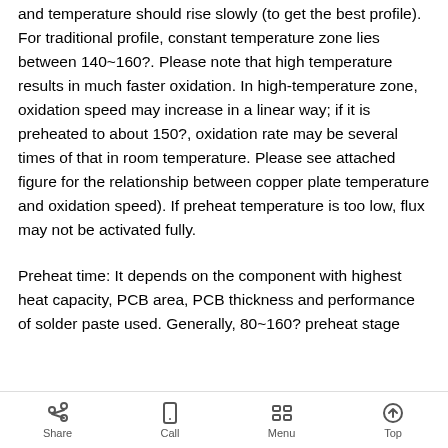and temperature should rise slowly (to get the best profile). For traditional profile, constant temperature zone lies between 140~160?. Please note that high temperature results in much faster oxidation. In high-temperature zone, oxidation speed may increase in a linear way; if it is preheated to about 150?, oxidation rate may be several times of that in room temperature. Please see attached figure for the relationship between copper plate temperature and oxidation speed). If preheat temperature is too low, flux may not be activated fully.
Preheat time: It depends on the component with highest heat capacity, PCB area, PCB thickness and performance of solder paste used. Generally, 80~160? preheat stage
Share  Call  Menu  Top